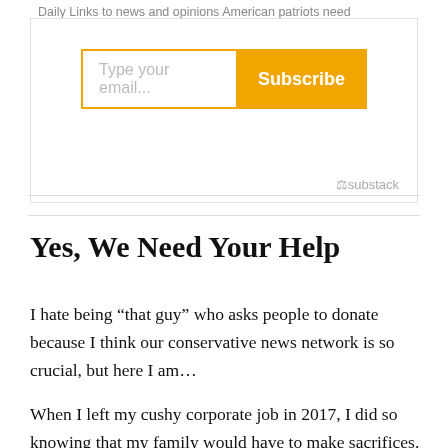Daily Links to news and opinions American patriots need
[Figure (screenshot): Email subscription widget with text input field saying 'Type your email...' and an orange 'Subscribe' button, with a Substack logo in the bottom right corner]
Yes, We Need Your Help
I hate being “that guy” who asks people to donate because I think our conservative news network is so crucial, but here I am…
When I left my cushy corporate job in 2017, I did so knowing that my family would have to make sacrifices. But I couldn’t continue to watch the nation sliding in a...